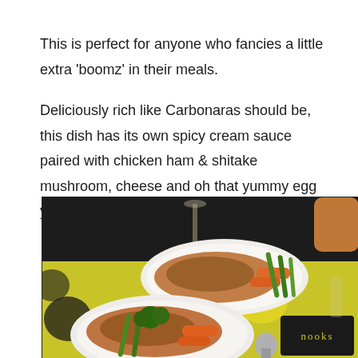This is perfect for anyone who fancies a little extra 'boomz' in their meals.

Deliciously rich like Carbonaras should be, this dish has its own spicy cream sauce paired with chicken ham & shitake mushroom, cheese and oh that yummy egg yolk. Sure to perk you up.
[Figure (photo): Restaurant table photo showing two white plates with stir-fried noodle/meat dishes garnished with green beans, broccoli, and carrots on a yellow-green patterned placemat. A 'nooks' branded black card is visible in the bottom right, along with utensils and a glass.]